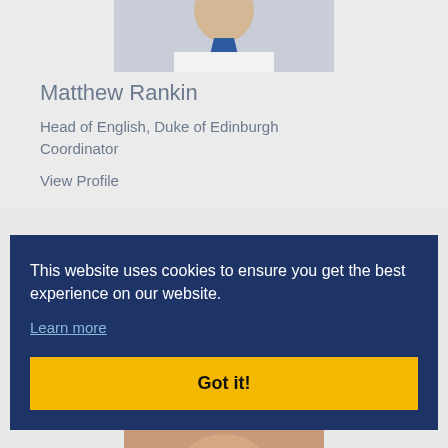[Figure (photo): Partial photo of Matthew Rankin showing a man in a white shirt and blue tie, cropped at top]
Matthew Rankin
Head of English, Duke of Edinburgh Coordinator
View Profile
This website uses cookies to ensure you get the best experience on our website.
Learn more
Got it!
[Figure (photo): Partial photo of another person, visible at bottom of page]